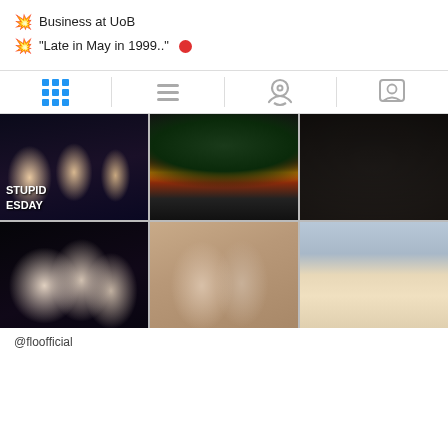💥 Business at UoB
💥 "Late in May in 1999.." 🔴
[Figure (screenshot): Instagram profile tab navigation bar with grid view, list view, location, and people icons]
[Figure (photo): Six-photo Instagram grid: group of friends at night out, crowd at football stadium with German flag, group photo, club scene, two guys posing, sunny street scene]
@floofficial